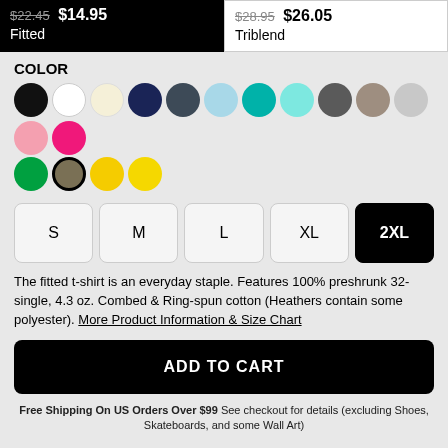$22.45 $14.95 Fitted
$28.95 $26.05 Triblend
COLOR
[Figure (other): Color swatch selector with 17 color circles: black, white, cream, navy, dark gray, light blue, teal, cyan, charcoal, taupe, light gray, pink, hot pink (row 1), green, olive/selected, yellow, bright yellow (row 2)]
[Figure (other): Size selector buttons: S, M, L, XL, 2XL (selected/active)]
The fitted t-shirt is an everyday staple. Features 100% preshrunk 32-single, 4.3 oz. Combed & Ring-spun cotton (Heathers contain some polyester). More Product Information & Size Chart
ADD TO CART
Free Shipping On US Orders Over $99 See checkout for details (excluding Shoes, Skateboards, and some Wall Art)